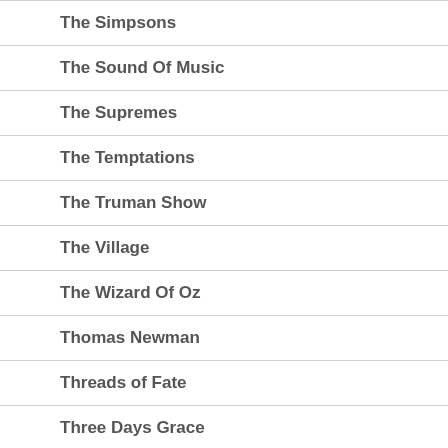The Simpsons
The Sound Of Music
The Supremes
The Temptations
The Truman Show
The Village
The Wizard Of Oz
Thomas Newman
Threads of Fate
Three Days Grace
Tokyo Ghoul